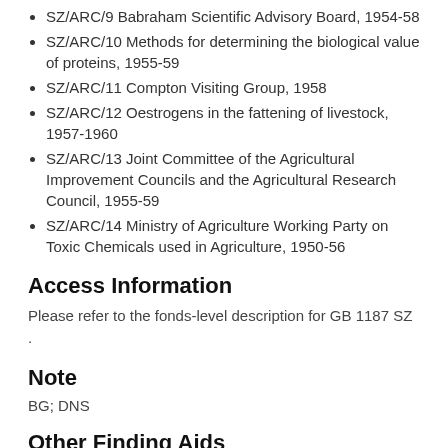SZ/ARC/9 Babraham Scientific Advisory Board, 1954-58
SZ/ARC/10 Methods for determining the biological value of proteins, 1955-59
SZ/ARC/11 Compton Visiting Group, 1958
SZ/ARC/12 Oestrogens in the fattening of livestock, 1957-1960
SZ/ARC/13 Joint Committee of the Agricultural Improvement Councils and the Agricultural Research Council, 1955-59
SZ/ARC/14 Ministry of Agriculture Working Party on Toxic Chemicals used in Agriculture, 1950-56
Access Information
Please refer to the fonds-level description for GB 1187 SZ .
Note
BG; DNS
Other Finding Aids